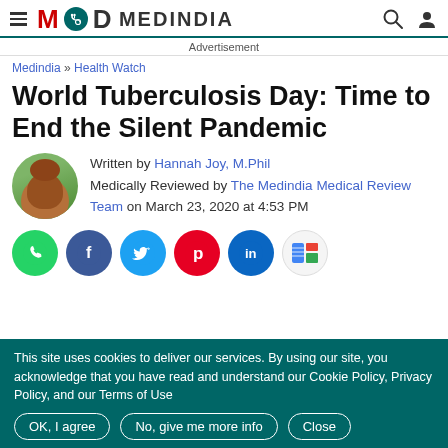MEDINDIA
Advertisement
Medindia » Health Watch
World Tuberculosis Day: Time to End the Silent Pandemic
Written by Hannah Joy, M.Phil
Medically Reviewed by The Medindia Medical Review Team on March 23, 2020 at 4:53 PM
[Figure (infographic): Social sharing icons: WhatsApp, Facebook, Twitter, Pinterest, LinkedIn, Google News]
This site uses cookies to deliver our services. By using our site, you acknowledge that you have read and understand our Cookie Policy, Privacy Policy, and our Terms of Use
OK, I agree   No, give me more info   Close